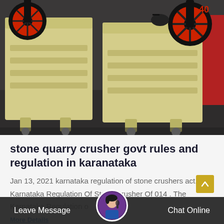[Figure (photo): Photo of two large yellow jaw crusher machines with red and black flywheels, parked on a dark industrial floor indoors.]
stone quarry crusher govt rules and regulation in karanataka
Jan 13, 2021 karnataka regulation of stone crushers act. Karnataka Regulation Of Stone Crusher Of 014 . The Karnataka Regulation o
More Details
Leave Message   Chat Online